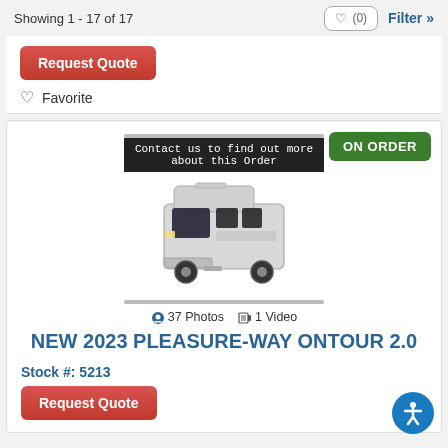Showing 1 - 17 of 17
Request Quote
Favorite
ON ORDER
Contact us to find out more about this Order
[Figure (photo): White high-roof van / RV (Ford Transit based) viewed from front-left angle]
37 Photos  1 Video
NEW 2023 PLEASURE-WAY ONTOUR 2.0
Stock #: 5213
Request Quote